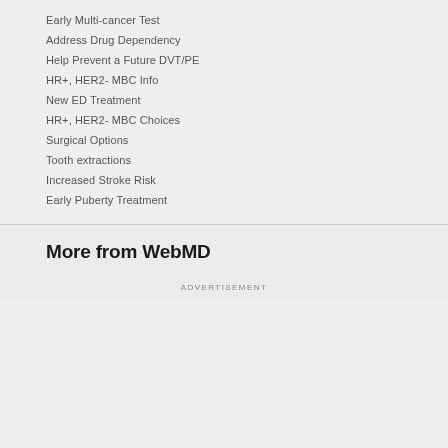Early Multi-cancer Test
Address Drug Dependency
Help Prevent a Future DVT/PE
HR+, HER2- MBC Info
New ED Treatment
HR+, HER2- MBC Choices
Surgical Options
Tooth extractions
Increased Stroke Risk
Early Puberty Treatment
More from WebMD
ADVERTISEMENT